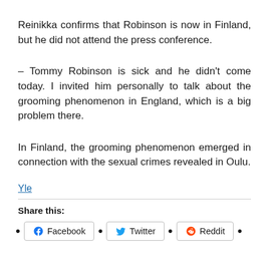Reinikka confirms that Robinson is now in Finland, but he did not attend the press conference.
– Tommy Robinson is sick and he didn't come today. I invited him personally to talk about the grooming phenomenon in England, which is a big problem there.
In Finland, the grooming phenomenon emerged in connection with the sexual crimes revealed in Oulu.
Yle
Share this:
Facebook
Twitter
Reddit